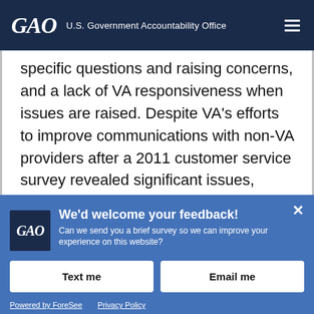GAO U.S. Government Accountability Office
specific questions and raising concerns, and a lack of VA responsiveness when issues are raised. Despite VA's efforts to improve communications with non-VA providers after a 2011 customer service survey revealed significant issues, these challenges persisted at the facilities GAO visited.
We'd welcome your feedback! Can we send you a brief survey so we can improve your experience on this website?
Text me
Email me
Powered by ForeSee   Privacy Policy